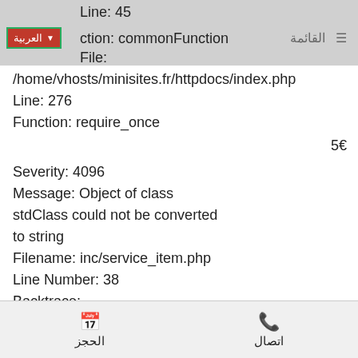Line: 45  Function: commonFunction  File:  القائمة
/home/vhosts/minisites.fr/httpdocs/index.php
Line: 276
Function: require_once
5€
Severity: 4096
Message: Object of class stdClass could not be converted to string
Filename: inc/service_item.php
Line Number: 38
Backtrace:
File:
/home/vhosts/minisites.fr/httpdocs/application/views/hom
Line: 38
Function: _error_handler
الحجز  اتصال